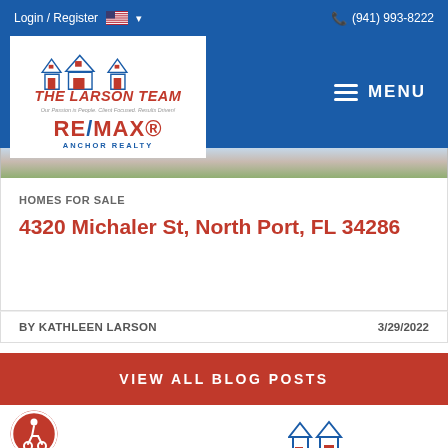Login / Register  (941) 993-8222
[Figure (logo): The Larson Team RE/MAX Anchor Realty logo with house icons]
[Figure (photo): Property photo strip showing exterior of home]
HOMES FOR SALE
4320 Michaler St, North Port, FL 34286
BY KATHLEEN LARSON   3/29/2022
VIEW ALL BLOG POSTS
[Figure (logo): Accessibility icon (wheelchair symbol) and partial Larson Team logo at bottom]